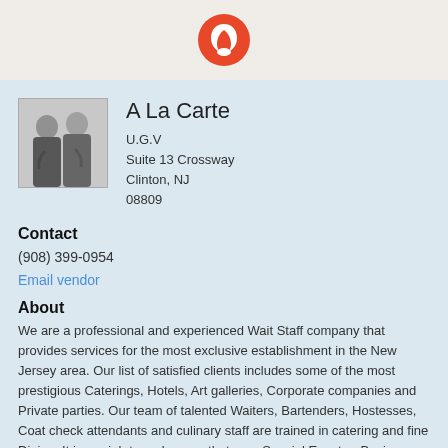Logo
[Figure (photo): Black and white photo of two women in dark uniforms]
A La Carte
U.G.V
Suite 13 Crossway
Clinton, NJ
08809
Contact
(908) 399-0954
Email vendor
About
We are a professional and experienced Wait Staff company that provides services for the most exclusive establishment in the New Jersey area. Our list of satisfied clients includes some of the most prestigious Caterings, Hotels, Art galleries, Corporate companies and Private parties. Our team of talented Waiters, Bartenders, Hostesses, Coat check attendants and culinary staff are trained in catering and fine Dining. It is our job to make sure that your Special Event or Business venture is a complete in success. You will relax and enjoy your event. Whether your event is large